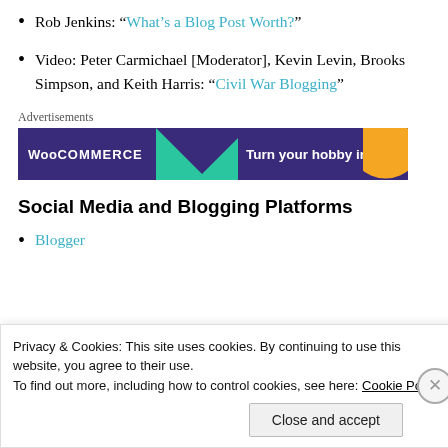Rob Jenkins: “What’s a Blog Post Worth?”
Video: Peter Carmichael [Moderator], Kevin Levin, Brooks Simpson, and Keith Harris: “Civil War Blogging”
[Figure (screenshot): WooCommerce advertisement banner with dark purple background, teal triangle shape on left, orange blob on right, and text 'Turn your hobby into']
Social Media and Blogging Platforms
Blogger
Privacy & Cookies: This site uses cookies. By continuing to use this website, you agree to their use.
To find out more, including how to control cookies, see here: Cookie Policy
Close and accept